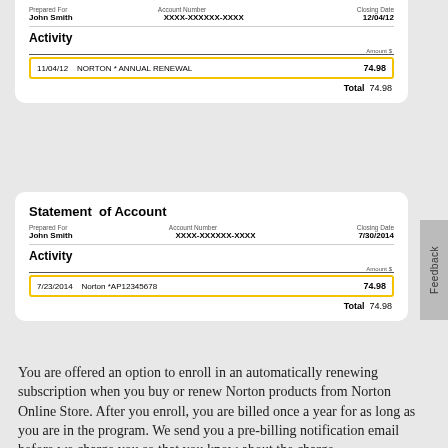| Prepared For | Account Number | Closing Date |
| --- | --- | --- |
| John Smith | XXXX-XXXXXX-XXXX | 12/04/12 |
Activity
| Date | Description | Amount $ |
| --- | --- | --- |
| 11/04/12 | NORTON * ANNUAL RENEWAL | 74.98 |
Total  74.98
Statement of Account
| Prepared For | Account Number | Closing Date |
| --- | --- | --- |
| John Smith | XXXX-XXXXXX-XXXX | 7/30/2014 |
Activity
| Date | Description | Amount $ |
| --- | --- | --- |
| 7/23/2014 | Norton *AP12345678 | 74.98 |
Total  74.98
You are offered an option to enroll in an automatically renewing subscription when you buy or renew Norton products from Norton Online Store. After you enroll, you are billed once a year for as long as you are in the program. We send you a pre-billing notification email before we charge you so that you know about the charge.